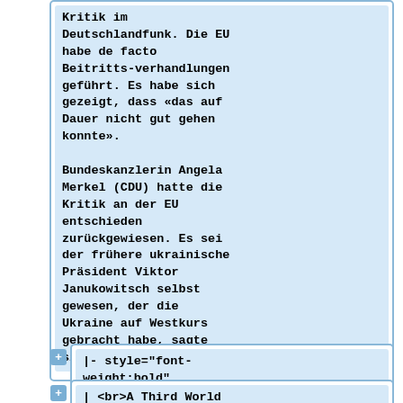Kritik im Deutschlandfunk. Die EU habe de facto Beitritts-verhandlungen geführt. Es habe sich gezeigt, dass «das auf Dauer nicht gut gehen konnte».
Bundeskanzlerin Angela Merkel (CDU) hatte die Kritik an der EU entschieden zurückgewiesen. Es sei der frühere ukrainische Präsident Viktor Janukowitsch selbst gewesen, der die Ukraine auf Westkurs gebracht habe, sagte sie.
|- style="font-weight:bold"
| <br>A Third World